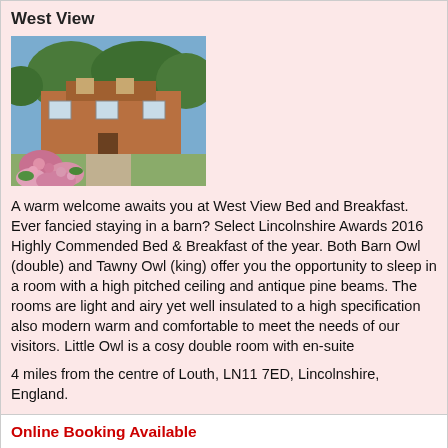West View
[Figure (photo): Exterior photo of West View Bed and Breakfast showing a brick building with pink roses in the foreground and trees in the background]
A warm welcome awaits you at West View Bed and Breakfast. Ever fancied staying in a barn? Select Lincolnshire Awards 2016 Highly Commended Bed & Breakfast of the year. Both Barn Owl (double) and Tawny Owl (king) offer you the opportunity to sleep in a room with a high pitched ceiling and antique pine beams. The rooms are light and airy yet well insulated to a high specification also modern warm and comfortable to meet the needs of our visitors. Little Owl is a cosy double room with en-suite
4 miles from the centre of Louth, LN11 7ED, Lincolnshire, England.
Online Booking Available
Bed and Breakfast Accommodation	Official Rating: 4 Star
Room Types Available: Double Room, Twin Room, Single Room.
Facilities Include: Parking, Internet Access(WiFi)